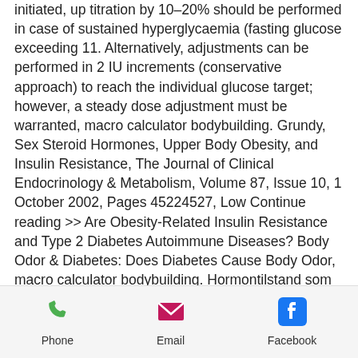initiated, up titration by 10–20% should be performed in case of sustained hyperglycaemia (fasting glucose exceeding 11. Alternatively, adjustments can be performed in 2 IU increments (conservative approach) to reach the individual glucose target; however, a steady dose adjustment must be warranted, macro calculator bodybuilding. Grundy, Sex Steroid Hormones, Upper Body Obesity, and Insulin Resistance, The Journal of Clinical Endocrinology & Metabolism, Volume 87, Issue 10, 1 October 2002, Pages 45224527, Low Continue reading >> Are Obesity-Related Insulin Resistance and Type 2 Diabetes Autoimmune Diseases? Body Odor & Diabetes: Does Diabetes Cause Body Odor, macro calculator bodybuilding. Hormontilstand som hypogonadisme (lavt
Phone   Email   Facebook